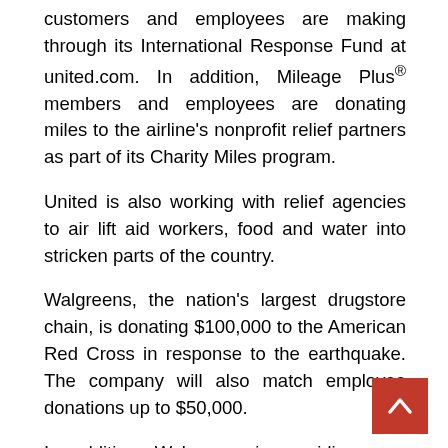customers and employees are making through its International Response Fund at united.com. In addition, Mileage Plus® members and employees are donating miles to the airline's nonprofit relief partners as part of its Charity Miles program.
United is also working with relief agencies to air lift aid workers, food and water into stricken parts of the country.
Walgreens, the nation's largest drugstore chain, is donating $100,000 to the American Red Cross in response to the earthquake. The company will also match employee donations up to $50,000.
In addition, Walgreens is providing non-perishable food, water and medical supplies to the University of Miami Global Institute for Community Health and Development which has set up clinics and triage units on the streets of Port-au-Prince.
Walmart operations around the world and the Walmart Foundation today announced a $500,000 monetary donation